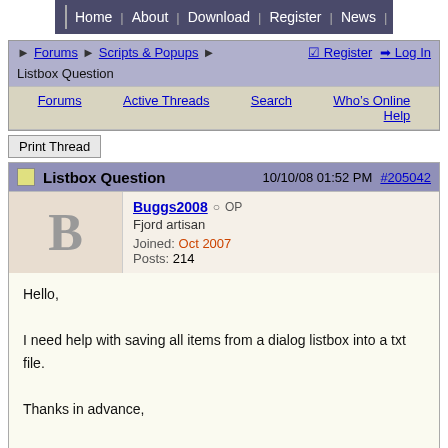Home | About | Download | Register | News | Help
Forums > Scripts & Popups > | Register | Log In
Listbox Question
Forums | Active Threads | Search | Who's Online | Help
Print Thread
Listbox Question   10/10/08 01:52 PM  #205042
Buggs2008  OP
Fjord artisan
Joined: Oct 2007
Posts: 214
Hello,

I need help with saving all items from a dialog listbox into a txt file.

Thanks in advance,

Cheers,

Jay